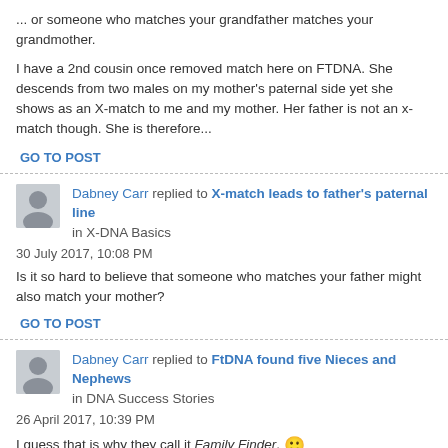... or someone who matches your grandfather matches your grandmother.
I have a 2nd cousin once removed match here on FTDNA. She descends from two males on my mother's paternal side yet she shows as an X-match to me and my mother. Her father is not an x-match though. She is therefore...
GO TO POST
Dabney Carr replied to X-match leads to father's paternal line in X-DNA Basics
30 July 2017, 10:08 PM
Is it so hard to believe that someone who matches your father might also match your mother?
GO TO POST
Dabney Carr replied to FtDNA found five Nieces and Nephews in DNA Success Stories
26 April 2017, 10:39 PM
I guess that is why they call it Family Finder. 🙂
GO TO POST